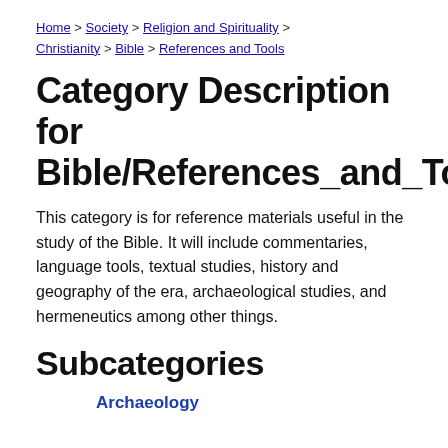Home > Society > Religion and Spirituality > Christianity > Bible > References and Tools
Category Description for Bible/References_and_Tools
This category is for reference materials useful in the study of the Bible. It will include commentaries, language tools, textual studies, history and geography of the era, archaeological studies, and hermeneutics among other things.
Subcategories
Archaeology